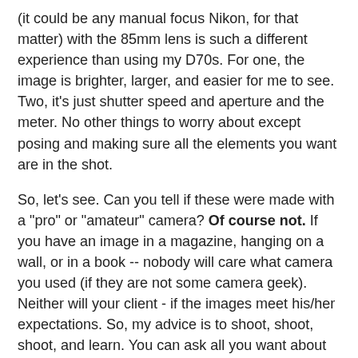(it could be any manual focus Nikon, for that matter) with the 85mm lens is such a different experience than using my D70s. For one, the image is brighter, larger, and easier for me to see. Two, it's just shutter speed and aperture and the meter. No other things to worry about except posing and making sure all the elements you want are in the shot.
So, let's see. Can you tell if these were made with a "pro" or "amateur" camera? Of course not. If you have an image in a magazine, hanging on a wall, or in a book -- nobody will care what camera you used (if they are not some camera geek). Neither will your client - if the images meet his/her expectations. So, my advice is to shoot, shoot, shoot, and learn. You can ask all you want about what lens to buy, and so on, but you have to use them! You'll soon figure out what works for you. At some point, you will realize that your camera doesn't matter. It's your eye and experience that provide better photos, not the newest wonder from Nikon, Canon, or Pentax, etc.
Oh, one last comment about the "pro" thing. How you conduct yourself, how you deal with the assignment, and the